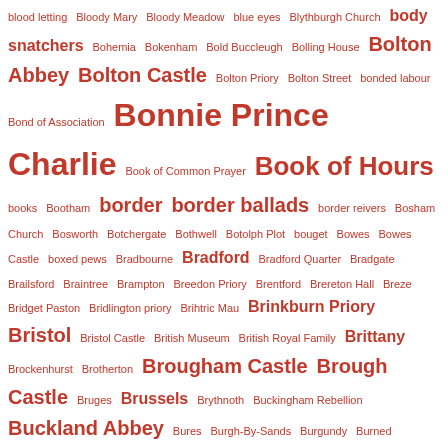blood letting Bloody Mary Bloody Meadow blue eyes Blythburgh Church body snatchers Bohemia Bokenham Bold Buccleugh Bolling House Bolton Abbey Bolton Castle Bolton Priory Bolton Street bonded labour Bond of Association Bonnie Prince Charlie Book of Common Prayer Book of Hours books Bootham border border ballads border reivers Bosham Church Bosworth Botchergate Bothwell Botolph Plot bouget Bowes Bowes Castle boxed pews Bradbourne Bradford Bradford Quarter Bradgate Brailsford Braintree Brampton Breedon Priory Brentford Brereton Hall Breze Bridget Paston Bridlington priory Brihtric Mau Brinkburn Priory Bristol Bristol Castle British Museum British Royal Family Brittany Brockenhurst Brotherton Brougham Castle Brough Castle Bruges Brussels Brythnoth Buckingham Rebellion Buckland Abbey Bures Burgh-By-Sands Burgundy Burned Candlemas Campaign Bury St Edmunds Butcher Clifford Buxton Bye Plot Byland Byland Abbey Bywell Castle Byzantine Empire cadaver tomb Cade's Rebellion Cadiz Cadwallada Cadwallader Caen Caen Abbey Aux Dames Caerlaverock Castle Caernhilly Castle